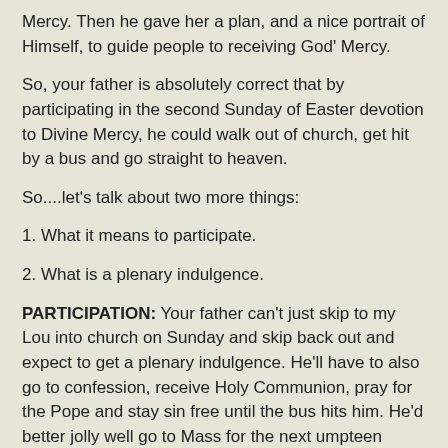Mercy. Then he gave her a plan, and a nice portrait of Himself, to guide people to receiving God' Mercy.
So, your father is absolutely correct that by participating in the second Sunday of Easter devotion to Divine Mercy, he could walk out of church, get hit by a bus and go straight to heaven.
So....let's talk about two more things:
1. What it means to participate.
2. What is a plenary indulgence.
PARTICIPATION: Your father can't just skip to my Lou into church on Sunday and skip back out and expect to get a plenary indulgence. He'll have to also go to confession, receive Holy Communion, pray for the Pope and stay sin free until the bus hits him. He'd better jolly well go to Mass for the next umpteen Sundays and every Sunday after that, because if you are an able bodied person, it's a mortal sin to miss Mass on Sunday.